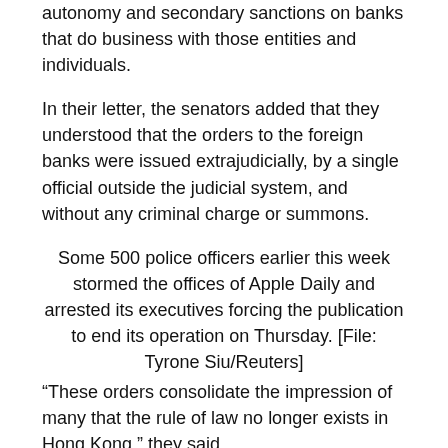autonomy and secondary sanctions on banks that do business with those entities and individuals.
In their letter, the senators added that they understood that the orders to the foreign banks were issued extrajudicially, by a single official outside the judicial system, and without any criminal charge or summons.
Some 500 police officers earlier this week stormed the offices of Apple Daily and arrested its executives forcing the publication to end its operation on Thursday. [File: Tyrone Siu/Reuters]
“These orders consolidate the impression of many that the rule of law no longer exists in Hong Kong,” they said.
Last month, a Citi spokesman said in response to Reuters history that the bank had to comply with all laws and regulations in the countries where it operates.